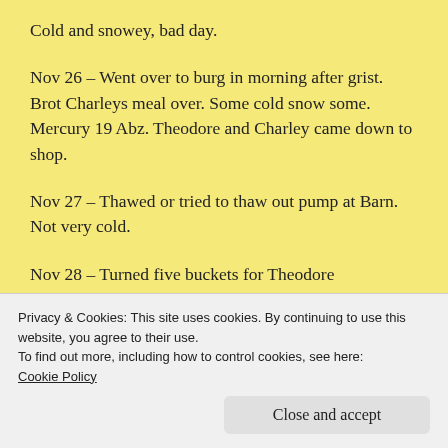Cold and snowey, bad day.
Nov 26 – Went over to burg in morning after grist. Brot Charleys meal over. Some cold snow some. Mercury 19 Abz. Theodore and Charley came down to shop.
Nov 27 – Thawed or tried to thaw out pump at Barn. Not very cold.
Nov 28 – Turned five buckets for Theodore
Privacy & Cookies: This site uses cookies. By continuing to use this website, you agree to their use.
To find out more, including how to control cookies, see here:
Cookie Policy
Close and accept